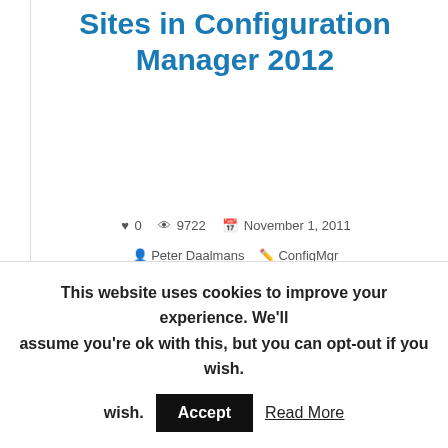Sites in Configuration Manager 2012
0   9722   November 1, 2011   Peter Daalmans   ConfigMgr
[Figure (logo): Microsoft System Center Configuration Manager 2012 logo with blue diamond/ribbon graphic]
Let's look today at the ability in Configuration Manager
This website uses cookies to improve your experience. We'll assume you're ok with this, but you can opt-out if you wish.
Accept   Read More